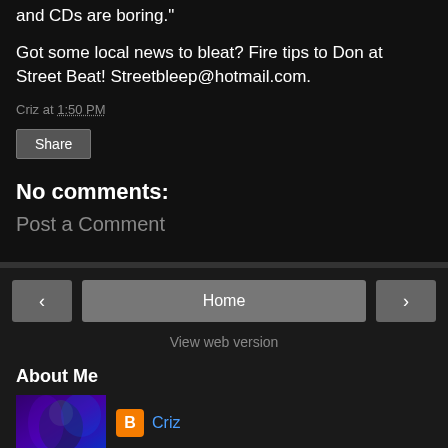and CDs are boring."
Got some local news to bleat? Fire tips to Don at Street Beat! Streetbleep@hotmail.com.
Criz at 1:50 PM
Share
No comments:
Post a Comment
Home
View web version
About Me
Criz
[Figure (photo): User profile thumbnail image showing a person with purple/blue lighting]